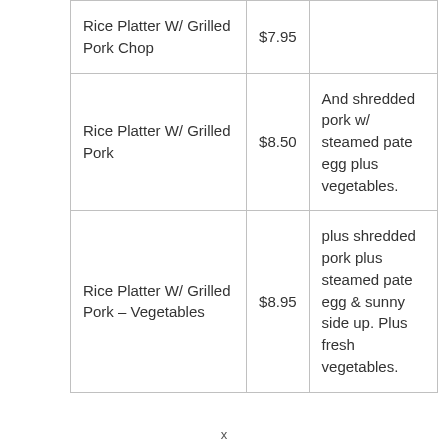| Rice Platter W/ Grilled Pork Chop | $7.95 |  |
| Rice Platter W/ Grilled Pork | $8.50 | And shredded pork w/ steamed pate egg plus vegetables. |
| Rice Platter W/ Grilled Pork – Vegetables | $8.95 | plus shredded pork plus steamed pate egg & sunny side up. Plus fresh vegetables. |
x